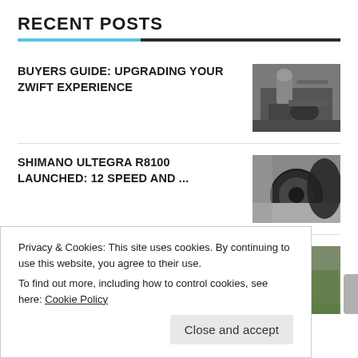RECENT POSTS
BUYERS GUIDE: UPGRADING YOUR ZWIFT EXPERIENCE
SHIMANO ULTEGRA R8100 LAUNCHED: 12 SPEED AND ...
WHY THE LOCAL ELECTIONS MATTER FOR CYCLISTS
Privacy & Cookies: This site uses cookies. By continuing to use this website, you agree to their use.
To find out more, including how to control cookies, see here: Cookie Policy
Close and accept